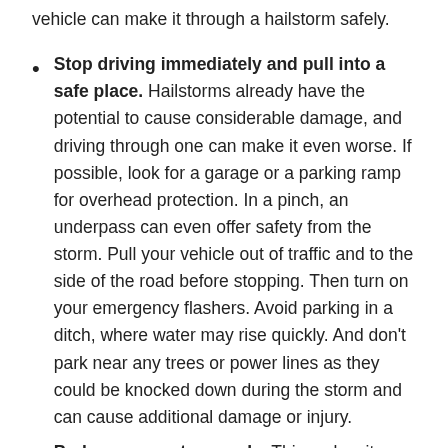vehicle can make it through a hailstorm safely.
Stop driving immediately and pull into a safe place. Hailstorms already have the potential to cause considerable damage, and driving through one can make it even worse. If possible, look for a garage or a parking ramp for overhead protection. In a pinch, an underpass can even offer safety from the storm. Pull your vehicle out of traffic and to the side of the road before stopping. Then turn on your emergency flashers. Avoid parking in a ditch, where water may rise quickly. And don't park near any trees or power lines as they could be knocked down during the storm and can cause additional damage or injury.
Park your car at an angle. This makes it more likely that any hail will hit the front of your vehicle